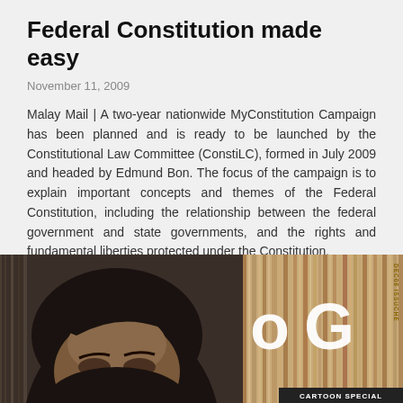Federal Constitution made easy
November 11, 2009
Malay Mail | A two-year nationwide MyConstitution Campaign has been planned and is ready to be launched by the Constitutional Law Committee (ConstiLC), formed in July 2009 and headed by Edmund Bon. The focus of the campaign is to explain important concepts and themes of the Federal Constitution, including the relationship between the federal government and state governments, and the rights and fundamental liberties protected under the Constitution.
[Figure (photo): A photo showing a dark-haired person looking upward on the left, and on the right a magazine cover with large bold letters and 'CARTOON SPECIAL' text at the bottom.]